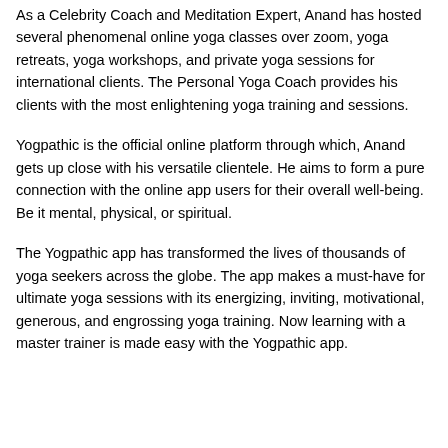As a Celebrity Coach and Meditation Expert, Anand has hosted several phenomenal online yoga classes over zoom, yoga retreats, yoga workshops, and private yoga sessions for international clients. The Personal Yoga Coach provides his clients with the most enlightening yoga training and sessions.
Yogpathic is the official online platform through which, Anand gets up close with his versatile clientele. He aims to form a pure connection with the online app users for their overall well-being. Be it mental, physical, or spiritual.
The Yogpathic app has transformed the lives of thousands of yoga seekers across the globe. The app makes a must-have for ultimate yoga sessions with its energizing, inviting, motivational, generous, and engrossing yoga training. Now learning with a master trainer is made easy with the Yogpathic app.